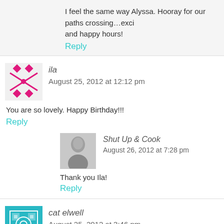I feel the same way Alyssa. Hooray for our paths crossing…exci and happy hours!
Reply
ila
August 25, 2012 at 12:12 pm
You are so lovely. Happy Birthday!!!
Reply
Shut Up & Cook
August 26, 2012 at 7:28 pm
Thank you Ila!
Reply
cat elwell
August 25, 2012 at 3:46 pm
Now I know why I baked a pear/almond cake today. Two pieces are for Y